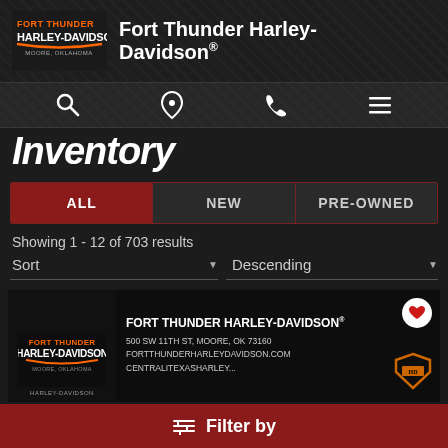Fort Thunder Harley-Davidson®
Inventory
Showing 1 - 12 of 703 results
Sort | Descending
[Figure (screenshot): Fort Thunder Harley-Davidson banner ad showing logo, address (500 SW 11TH ST, MOORE, OK 73160), website (FORTTHUNDERHARLEYDAVIDSON.COM), and CENTRALITEXASHARLEY..., with an HD shield logo icon on the right]
Filter by